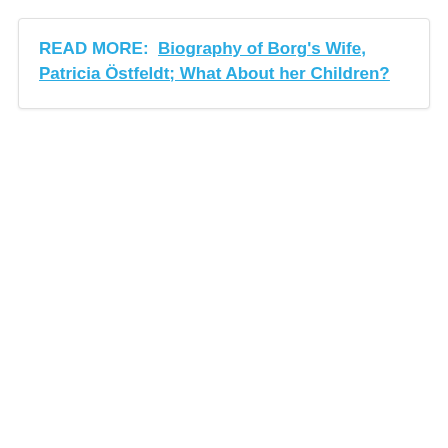READ MORE:  Biography of Borg's Wife, Patricia Östfeldt; What About her Children?